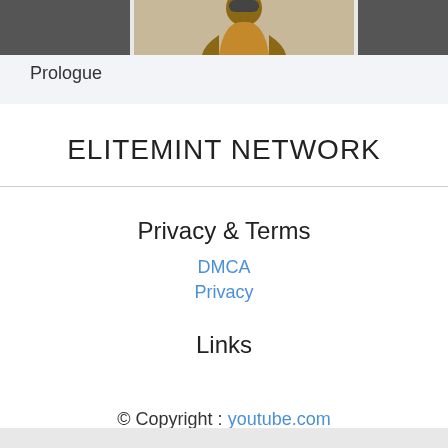[Figure (photo): Top banner with dark grey panels on left and right, and a central image area showing what appears to be a person or figure]
Prologue
ELITEMINT NETWORK
Privacy & Terms
DMCA
Privacy
Links
© Copyright : youtube.com